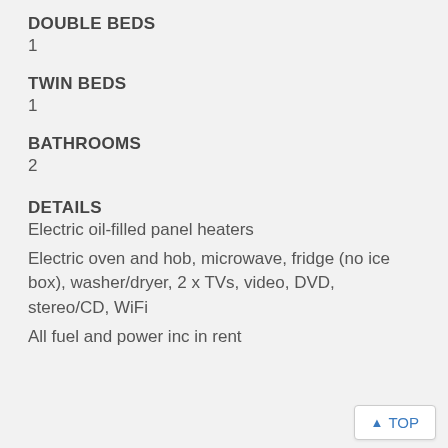DOUBLE BEDS
1
TWIN BEDS
1
BATHROOMS
2
DETAILS
Electric oil-filled panel heaters
Electric oven and hob, microwave, fridge (no ice box), washer/dryer, 2 x TVs, video, DVD, stereo/CD, WiFi
All fuel and power inc in rent